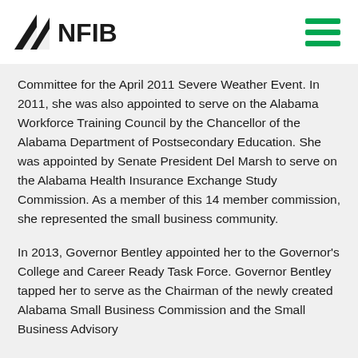NFIB
Committee for the April 2011 Severe Weather Event. In 2011, she was also appointed to serve on the Alabama Workforce Training Council by the Chancellor of the Alabama Department of Postsecondary Education. She was appointed by Senate President Del Marsh to serve on the Alabama Health Insurance Exchange Study Commission. As a member of this 14 member commission, she represented the small business community.
In 2013, Governor Bentley appointed her to the Governor's College and Career Ready Task Force. Governor Bentley tapped her to serve as the Chairman of the newly created Alabama Small Business Commission and the Small Business Advisory